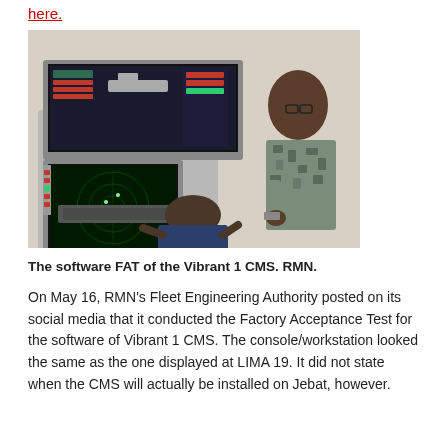here.
[Figure (photo): Two men at a military combat management system console/workstation. One man in military camouflage uniform stands, the other sits operating the keyboard. Two monitors display radar and tactical displays.]
The software FAT of the Vibrant 1 CMS. RMN.
On May 16, RMN's Fleet Engineering Authority posted on its social media that it conducted the Factory Acceptance Test for the software of Vibrant 1 CMS. The console/workstation looked the same as the one displayed at LIMA 19. It did not state when the CMS will actually be installed on Jebat, however.